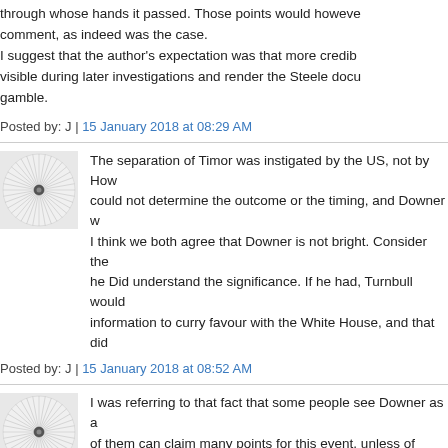through whose hands it passed. Those points would however comment, as indeed was the case.
I suggest that the author's expectation was that more credible visible during later investigations and render the Steele docu gamble.
Posted by: J | 15 January 2018 at 08:29 AM
The separation of Timor was instigated by the US, not by How could not determine the outcome or the timing, and Downer w
I think we both agree that Downer is not bright. Consider the he Did understand the significance. If he had, Turnbull would information to curry favour with the White House, and that did
Posted by: J | 15 January 2018 at 08:52 AM
I was referring to that fact that some people see Downer as a of them can claim many points for this event, unless of course London as a well lubricated conduit.
Posted by: J | 15 January 2018 at 09:02 AM
'The separation of Timor was instigated by the US'